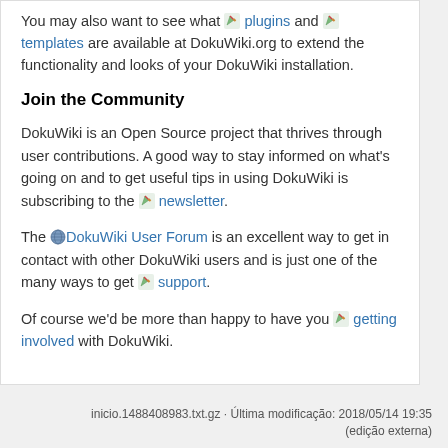You may also want to see what 🖊 plugins and 🖊 templates are available at DokuWiki.org to extend the functionality and looks of your DokuWiki installation.
Join the Community
DokuWiki is an Open Source project that thrives through user contributions. A good way to stay informed on what's going on and to get useful tips in using DokuWiki is subscribing to the 🖊 newsletter.
The 🌐 DokuWiki User Forum is an excellent way to get in contact with other DokuWiki users and is just one of the many ways to get 🖊 support.
Of course we'd be more than happy to have you 🖊 getting involved with DokuWiki.
inicio.1488408983.txt.gz · Última modificação: 2018/05/14 19:35 (edição externa)